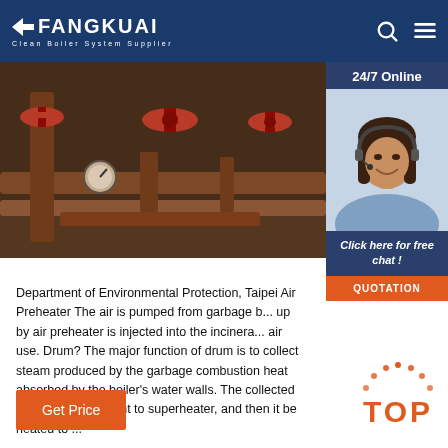[Figure (logo): FANGKUAI logo with left-pointing arrow, white text on dark blue background. Subtitle: Clean Boiler System Supplier]
[Figure (photo): Industrial boiler pipe system with red valves and gauges, rust-colored metal pipes, industrial setting]
[Figure (photo): Customer service agent woman with headset smiling, 24/7 Online panel overlay with chat and quotation buttons]
Department of Environmental Protection, Taipei Air Preheater The air is pumped from garbage b... up by air preheater is injected into the incinera... air use. Drum? The major function of drum is to collect steam produced by the garbage combustion heat absorbed by the boiler's water walls. The collected steam would be sent to superheater, and then it be heated to ...
[Figure (other): Orange Get Price button]
[Figure (other): TOP scroll-to-top button in orange with dotted arc]